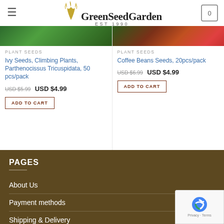GreenSeedGarden EST 1990
[Figure (screenshot): Product card image - ivy/climbing plant greenery]
PLANT SEEDS
Ivy Seeds, Climbing Plants, Parthenocissus Tricuspidata, 50 pcs/pack
USD $5.99  USD $4.99
ADD TO CART
[Figure (screenshot): Product card image - coffee beans/colorful fruits]
PLANT SEEDS
Coffee Beans Seeds, 20pcs/pack
USD $6.99  USD $4.99
ADD TO CART
PAGES
About Us
Payment methods
Shipping & Delivery